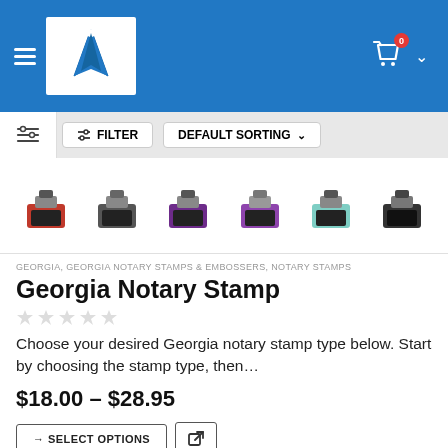Navigation header with logo and cart
[Figure (screenshot): E-commerce product listing page toolbar with FILTER and DEFAULT SORTING controls]
[Figure (photo): Six notary stamps in various colors: red, black/grey, purple-dark, purple-light, teal/mint, black]
GEORGIA, GEORGIA NOTARY STAMPS & EMBOSSERS, NOTARY STAMPS
Georgia Notary Stamp
[Figure (other): Five empty star rating icons]
Choose your desired Georgia notary stamp type below. Start by choosing the stamp type, then...
$18.00 – $28.95
→ SELECT OPTIONS  [external link icon]